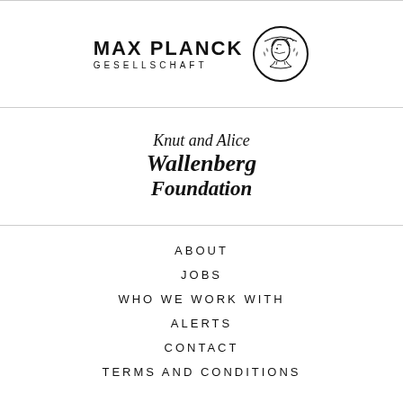[Figure (logo): Max Planck Gesellschaft logo with Minerva head in circle and bold text MAX PLANCK GESELLSCHAFT]
[Figure (logo): Knut and Alice Wallenberg Foundation logo in decorative italic/script calligraphy]
ABOUT
JOBS
WHO WE WORK WITH
ALERTS
CONTACT
TERMS AND CONDITIONS